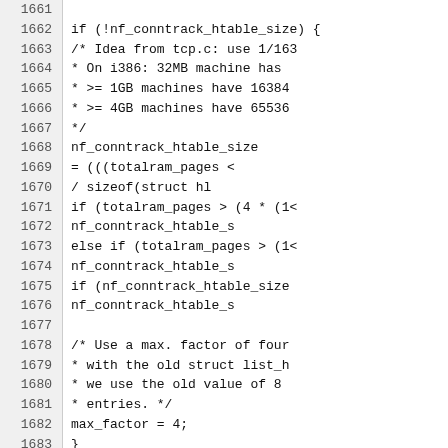Source code listing, lines 1661-1690, showing C kernel code for nf_conntrack initialization including htable_size computation and printk logging.